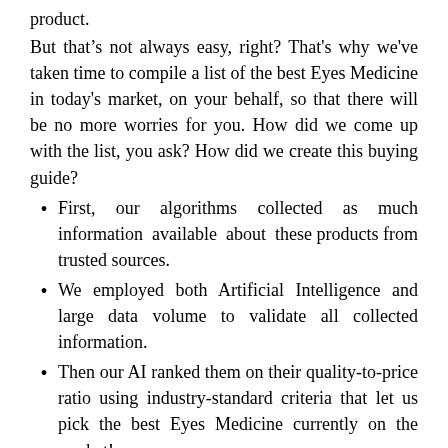product.
But that’s not always easy, right? That's why we've taken time to compile a list of the best Eyes Medicine in today's market, on your behalf, so that there will be no more worries for you. How did we come up with the list, you ask? How did we create this buying guide?
First, our algorithms collected as much information available about these products from trusted sources.
We employed both Artificial Intelligence and large data volume to validate all collected information.
Then our AI ranked them on their quality-to-price ratio using industry-standard criteria that let us pick the best Eyes Medicine currently on the market!
The products aren’t chosen randomly. We